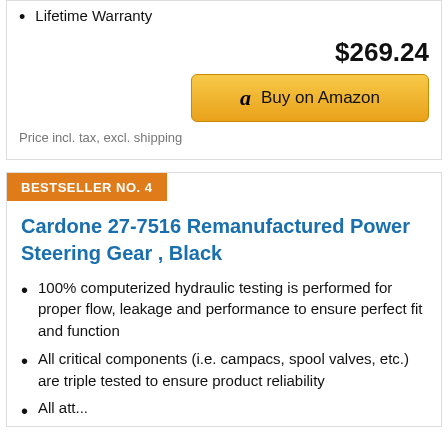Lifetime Warranty
$269.24
[Figure (other): Buy on Amazon button with Amazon logo]
Price incl. tax, excl. shipping
BESTSELLER NO. 4
Cardone 27-7516 Remanufactured Power Steering Gear , Black
100% computerized hydraulic testing is performed for proper flow, leakage and performance to ensure perfect fit and function
All critical components (i.e. campacs, spool valves, etc.) are triple tested to ensure product reliability
All att...